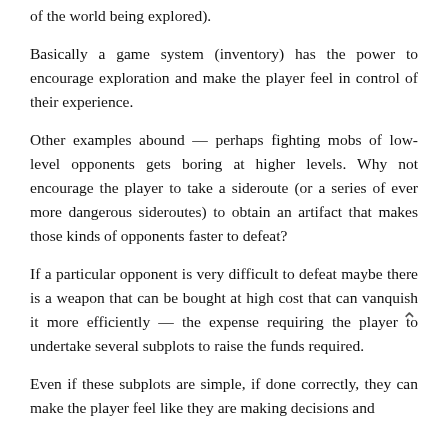of the world being explored).
Basically a game system (inventory) has the power to encourage exploration and make the player feel in control of their experience.
Other examples abound — perhaps fighting mobs of low-level opponents gets boring at higher levels. Why not encourage the player to take a sideroute (or a series of ever more dangerous sideroutes) to obtain an artifact that makes those kinds of opponents faster to defeat?
If a particular opponent is very difficult to defeat maybe there is a weapon that can be bought at high cost that can vanquish it more efficiently — the expense requiring the player to undertake several subplots to raise the funds required.
Even if these subplots are simple, if done correctly, they can make the player feel like they are making decisions and